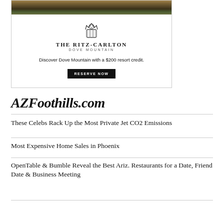[Figure (photo): Ritz-Carlton Dove Mountain advertisement with landscape photo at top, lion logo, brand name, tagline and reserve button]
AZFoothills.com
These Celebs Rack Up the Most Private Jet CO2 Emissions
Most Expensive Home Sales in Phoenix
OpenTable & Bumble Reveal the Best Ariz. Restaurants for a Date, Friend Date & Business Meeting